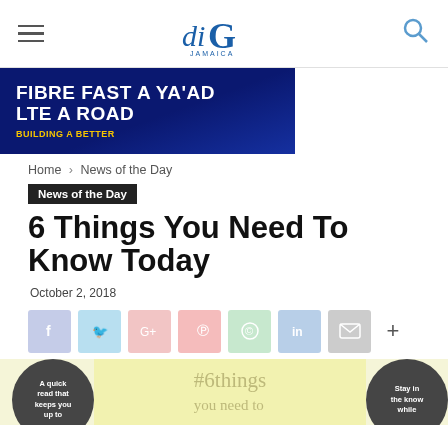diGJAMAICA navigation bar with hamburger menu and search icon
[Figure (photo): Advertisement banner with dark blue background, white bold text: FIBRE FAST A YA'AD / LTE A ROAD, yellow text: BUILDING A BETTER at bottom]
Home › News of the Day
News of the Day
6 Things You Need To Know Today
October 2, 2018
[Figure (infographic): Social sharing buttons: facebook, twitter, google+, pinterest, whatsapp, linkedin, email, and more (+)]
[Figure (infographic): Partial infographic showing two dark circles with text 'A quick read that keeps you up to' (left) and 'Stay in the know while' (right), center shows '#6things you need to' in light yellow area]